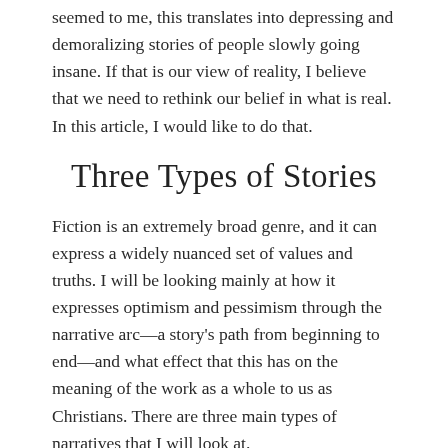seemed to me, this translates into depressing and demoralizing stories of people slowly going insane. If that is our view of reality, I believe that we need to rethink our belief in what is real. In this article, I would like to do that.
Three Types of Stories
Fiction is an extremely broad genre, and it can express a widely nuanced set of values and truths. I will be looking mainly at how it expresses optimism and pessimism through the narrative arc—a story's path from beginning to end—and what effect that this has on the meaning of the work as a whole to us as Christians. There are three main types of narratives that I will look at.
First, one of the most common historical types of stories is the comedy, the happy ending, and I will classify this